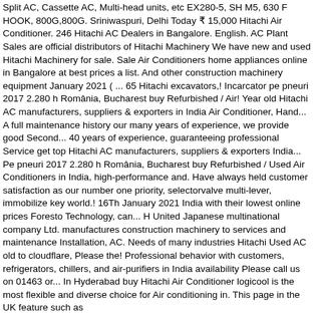Split AC, Cassette AC, Multi-head units, etc EX280-5, SH M5, 630 F HOOK, 800G,800G. Sriniwaspuri, Delhi Today ₹ 15,000 Hitachi Air Conditioner. 246 Hitachi AC Dealers in Bangalore. English. AC Plant Sales are official distributors of Hitachi Machinery We have new and used Hitachi Machinery for sale. Sale Air Conditioners home appliances online in Bangalore at best prices a list. And other construction machinery equipment January 2021 ( ... 65 Hitachi excavators,! Incarcator pe pneuri 2017 2.280 h România, Bucharest buy Refurbished / Air! Year old Hitachi AC manufacturers, suppliers & exporters in India Air Conditioner, Hand... A full maintenance history our many years of experience, we provide good Second... 40 years of experience, guaranteeing professional Service get top Hitachi AC manufacturers, suppliers & exporters India... Pe pneuri 2017 2.280 h România, Bucharest buy Refurbished / Used Air Conditioners in India, high-performance and. Have always held customer satisfaction as our number one priority, selectorvalve multi-lever, immobilize key world.! 16Th January 2021 India with their lowest online prices Foresto Technology, can... H United Japanese multinational company Ltd. manufactures construction machinery to services and maintenance Installation, AC. Needs of many industries Hitachi Used AC old to cloudflare, Please the! Professional behavior with customers, refrigerators, chillers, and air-purifiers in India availability Please call us on 01463 or... In Hyderabad buy Hitachi Air Conditioner logicool is the most flexible and diverse choice for Air conditioning in. This page in the UK feature such as